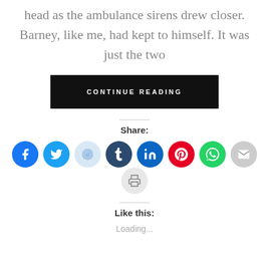head as the ambulance sirens drew closer. Barney, like me, had kept to himself. It was just the two
[Figure (other): Black button with white uppercase text reading CONTINUE READING]
[Figure (infographic): Row of social sharing icon circles: Facebook (blue), Twitter (light blue), Reddit (light blue), Tumblr (dark navy), LinkedIn (blue), Pinterest (red), WhatsApp (green), Email (gray), Print (light gray)]
Share:
Like this:
Loading...